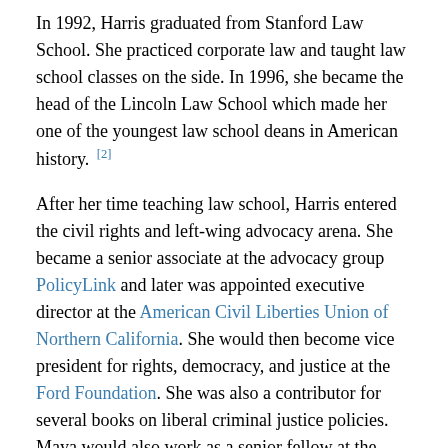In 1992, Harris graduated from Stanford Law School. She practiced corporate law and taught law school classes on the side. In 1996, she became the head of the Lincoln Law School which made her one of the youngest law school deans in American history. [2]
After her time teaching law school, Harris entered the civil rights and left-wing advocacy arena. She became a senior associate at the advocacy group PolicyLink and later was appointed executive director at the American Civil Liberties Union of Northern California. She would then become vice president for rights, democracy, and justice at the Ford Foundation. She was also a contributor for several books on liberal criminal justice policies. Maya would also work as a senior fellow at the Center for American Progress. [3]
Clinton 2016 Campaign